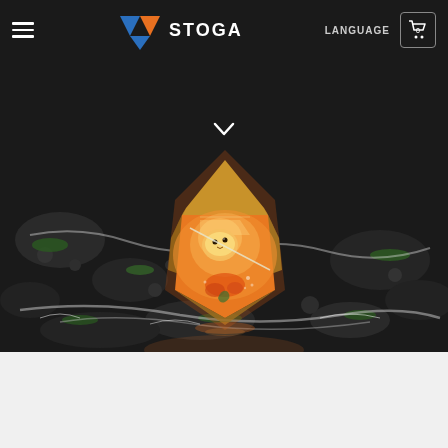STOGA — Navigation bar with hamburger menu, logo, LANGUAGE, and cart (0)
[Figure (photo): Close-up product photo of an artisan keyboard keycap with a glowing amber/orange resin design featuring a small character or scene inside, placed on dark wet rocks with mossy green highlights and flowing water effects.]